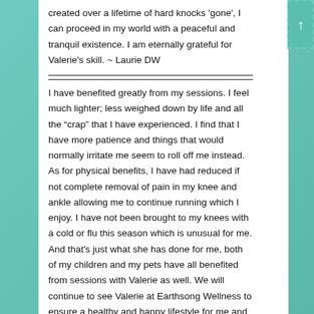created over a lifetime of hard knocks 'gone', I can proceed in my world with a peaceful and tranquil existence. I am eternally grateful for Valerie's skill. ~ Laurie DW
I have benefited greatly from my sessions. I feel much lighter; less weighed down by life and all the “crap” that I have experienced. I find that I have more patience and things that would normally irritate me seem to roll off me instead. As for physical benefits, I have had reduced if not complete removal of pain in my knee and ankle allowing me to continue running which I enjoy. I have not been brought to my knees with a cold or flu this season which is unusual for me. And that's just what she has done for me, both of my children and my pets have all benefited from sessions with Valerie as well. We will continue to see Valerie at Earthsong Wellness to ensure a healthy and happy lifestyle for me and my family♡ Sara